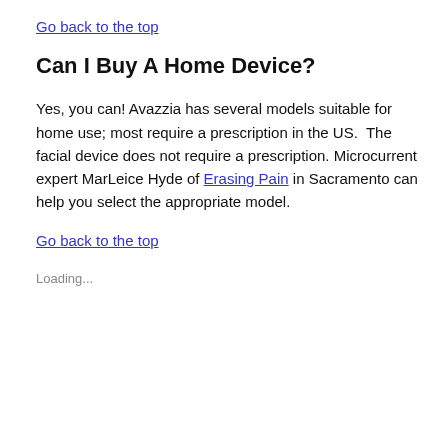Go back to the top
Can I Buy A Home Device?
Yes, you can! Avazzia has several models suitable for home use; most require a prescription in the US.  The facial device does not require a prescription. Microcurrent expert MarLeice Hyde of Erasing Pain in Sacramento can help you select the appropriate model.
Go back to the top
Loading...